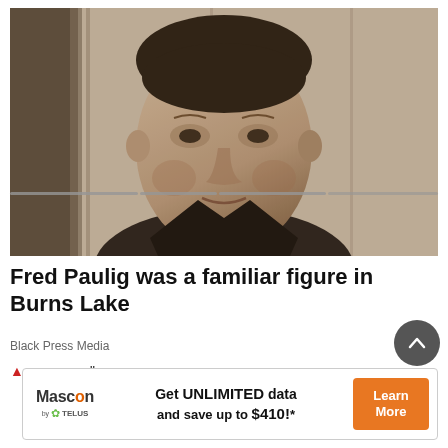[Figure (photo): Black and white photograph of a man (Fred Paulig) standing in front of what appears to be a wooden wall or building. The photo is a portrait-style image showing him from roughly the chest up. He has short dark hair and a slight smile.]
Fred Paulig was a familiar figure in Burns Lake
Black Press Media
[Figure (other): Partially visible advertisement banner at the top of the ad section showing colorful logos/marks, partially cut off.]
[Figure (other): Advertisement banner: Mascon by TELUS logo on left, center text reads 'Get UNLIMITED data and save up to $410!*', orange button on right reading 'Learn More']